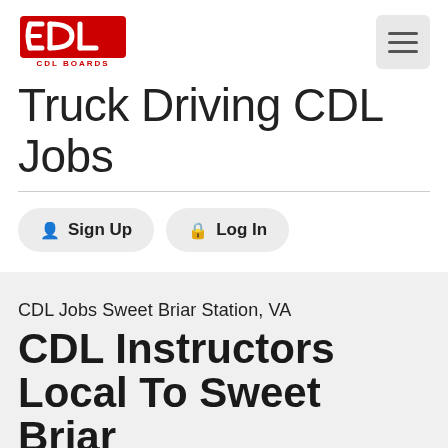[Figure (logo): CDL Boards logo — red stylized 'CDL' letters above text 'CDL BOARDS']
Truck Driving CDL Jobs
Sign Up   Log In
CDL Jobs Sweet Briar Station, VA
CDL Instructors Local To Sweet Briar Station, VA Home